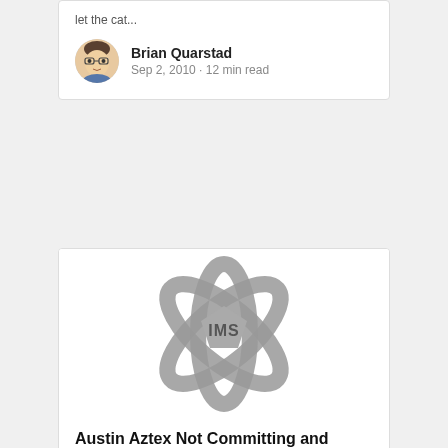let the cat...
Brian Quarstad
Sep 2, 2010 · 12 min read
[Figure (logo): IMS logo — grey atomic orbit graphic with a pentagon shape in the center labeled IMS]
Austin Aztex Not Committing and Rochester Rhinos Sorting